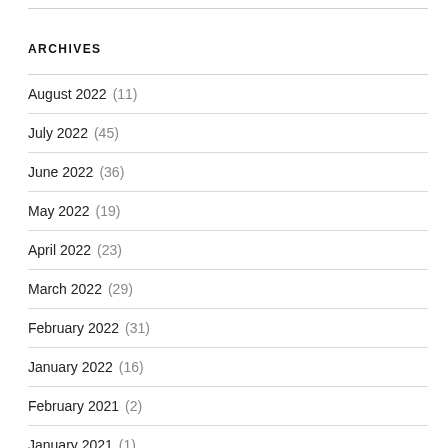ARCHIVES
August 2022 (11)
July 2022 (45)
June 2022 (36)
May 2022 (19)
April 2022 (23)
March 2022 (29)
February 2022 (31)
January 2022 (16)
February 2021 (2)
January 2021 (1)